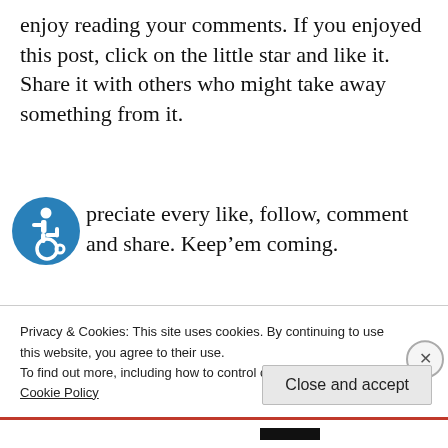enjoy reading your comments. If you enjoyed this post, click on the little star and like it. Share it with others who might take away something from it.
[Figure (illustration): Blue circular accessibility icon (wheelchair user symbol) followed by text: preciate every like, follow, comment and share. Keep’em coming.]
preciate every like, follow, comment and share. Keep’em coming.
...
Privacy & Cookies: This site uses cookies. By continuing to use this website, you agree to their use.
To find out more, including how to control cookies, see here:
Cookie Policy
Close and accept